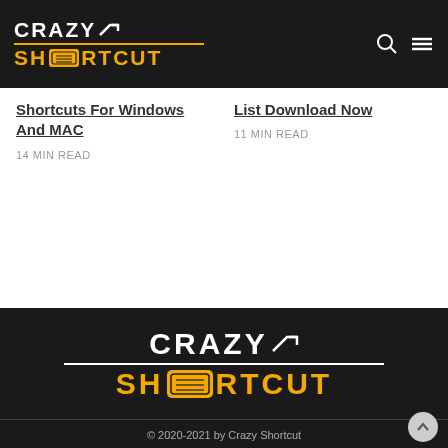CrazyShortcut – site header with logo and navigation icons
Shortcuts For Windows And MAC
14 MIN READ
List Download Now
11 MIN READ
[Figure (logo): Crazy Shortcut large footer logo in white and gold on black background]
Comment Policy   Contact us   Sitemap   Disclaimer
© 2020-2021 by Crazy Shortcut